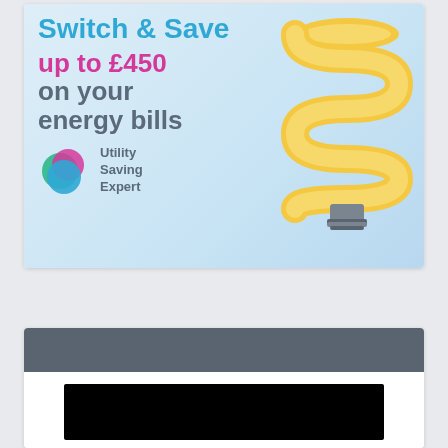[Figure (illustration): Utility Saving Expert advertisement showing a CFL lightbulb illustration on a light blue background. Text reads 'Compare, Switch & Save up to £450 on your energy bills' with Utility Saving Expert logo.]
[Figure (other): Dark grey header bar above a partially visible section with a black rectangle (redacted or loading content area).]